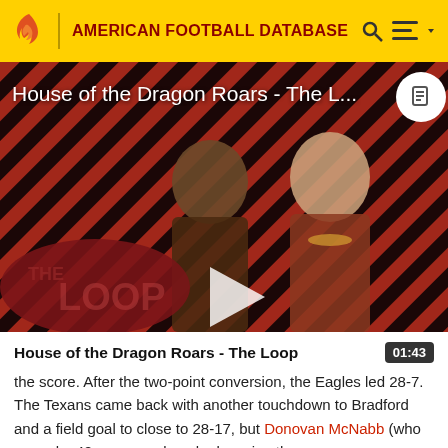AMERICAN FOOTBALL DATABASE
[Figure (screenshot): Video thumbnail for 'House of the Dragon Roars - The Loop' showing two characters from the show on a diagonal stripe background with a play button overlay and 'THE LOOP' logo bubble in bottom left. Duration 01:43.]
House of the Dragon Roars - The Loop
the score. After the two-point conversion, the Eagles led 28-7. The Texans came back with another touchdown to Bradford and a field goal to close to 28-17, but Donovan McNabb (who scored a 42-ware conduced advancing the